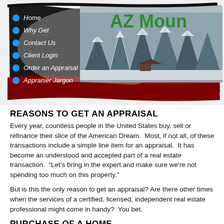[Figure (screenshot): Website header banner for AZ Mountain appraisal site, showing a winter snowy forest scene with navigation menu items on the left (Home, Why Get, Contact Us, Client Login, Order an Appraisal, Appraiser Jargon) with blue bullet dots, dark curved/swoosh background shape in dark grey and red, and green site title 'AZ Moun...' in top right.]
REASONS TO GET AN APPRAISAL
Every year, countless people in the United States buy, sell or refinance their slice of the American Dream.  Most, if not all, of these transactions include a simple line item for an appraisal.  It has become an understood and accepted part of a real estate transaction.  "Let's bring in the expert and make sure we're not spending too much on this property."
But is this the only reason to get an appraisal? Are there other times when the services of a certified, licensed, independent real estate professional might come in handy?  You bet.
PURCHASE OF A HOME
One of the most important issues involved in purchasing a m...